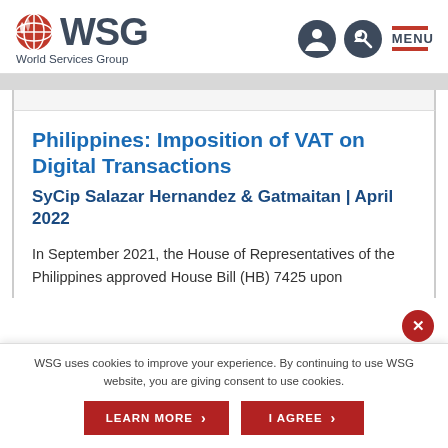[Figure (logo): WSG World Services Group logo with globe icon on left and WSG text, subtitle 'World Services Group']
WSG World Services Group | MENU navigation header
Philippines: Imposition of VAT on Digital Transactions
SyCip Salazar Hernandez & Gatmaitan | April 2022
In September 2021, the House of Representatives of the Philippines approved House Bill (HB) 7425 upon
WSG uses cookies to improve your experience. By continuing to use WSG website, you are giving consent to use cookies.